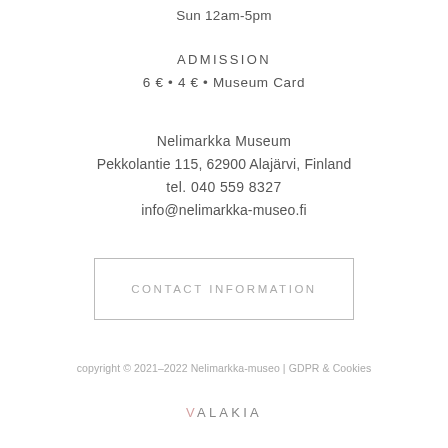Sun 12am-5pm
ADMISSION
6 € • 4 € • Museum Card
Nelimarkka Museum
Pekkolantie 115, 62900 Alajärvi, Finland
tel. 040 559 8327
info@nelimarkka-museo.fi
CONTACT INFORMATION
copyright © 2021–2022 Nelimarkka-museo | GDPR & Cookies
VALAKIA